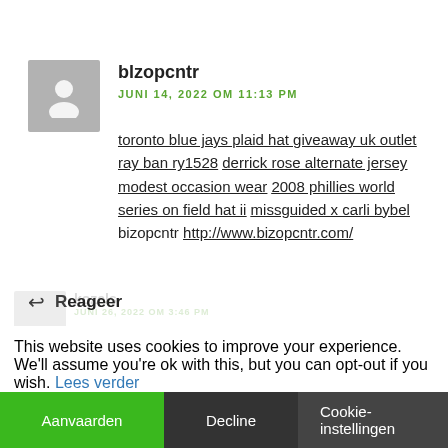[Figure (illustration): Grey avatar placeholder icon (person silhouette) in a grey square]
blzopcntr
JUNI 14, 2022 OM 11:13 PM
toronto blue jays plaid hat giveaway uk outlet ray ban ry1528 derrick rose alternate jersey modest occasion wear 2008 phillies world series on field hat ii missguided x carli bybel bizopcntr http://www.bizopcntr.com/
↩ Reageer
This website uses cookies to improve your experience. We'll assume you're ok with this, but you can opt-out if you wish. Lees verder
Aanvaarden
Decline
Cookie-instellingen